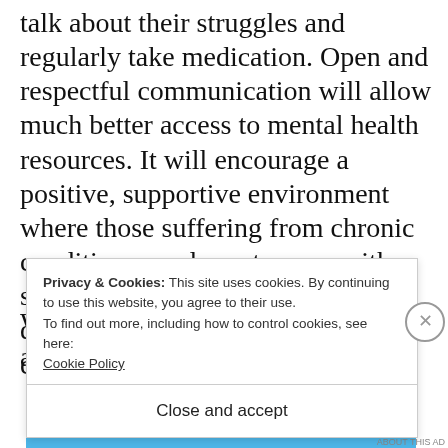talk about their struggles and regularly take medication. Open and respectful communication will allow much better access to mental health resources. It will encourage a positive, supportive environment where those suffering from chronic conditions can learn to cope with symptoms while pursuing their dreams like higher education and career of choice.
Privacy & Cookies: This site uses cookies. By continuing to use this website, you agree to their use.
To find out more, including how to control cookies, see here: Cookie Policy

Close and accept